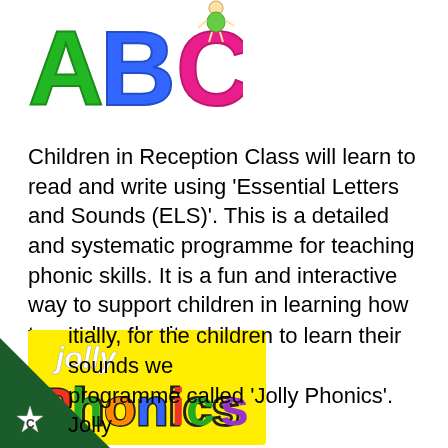[Figure (illustration): Colorful ABC letters logo: green A, blue B, pink C with a small cartoon character on top of C]
Children in Reception Class will learn to read and write using 'Essential Letters and Sounds (ELS)'. This is a detailed and systematic programme for teaching phonic skills. It is a fun and interactive way to support children in learning how to read and write.
[Figure (logo): Jolly Phonics logo on a yellow background with colorful lettering]
[Figure (illustration): Dark green triangle in bottom-left corner with a star badge and letter C]
itially, for the children to learn their sounds we programme called 'Jolly Phonics'. Jolly